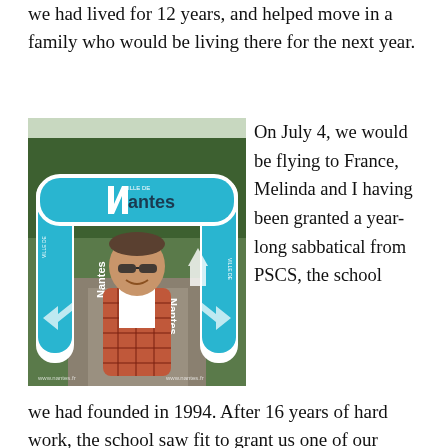we had lived for 12 years, and helped move in a family who would be living there for the next year.
[Figure (photo): A man standing under a large inflatable arch branded with 'Ville de Nantes' logo in a park or outdoor setting.]
On July 4, we would be flying to France, Melinda and I having been granted a year-long sabbatical from PSCS, the school we had founded in 1994. After 16 years of hard work, the school saw fit to grant us one of our long-held dreams